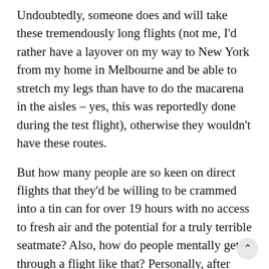Undoubtedly, someone does and will take these tremendously long flights (not me, I'd rather have a layover on my way to New York from my home in Melbourne and be able to stretch my legs than have to do the macarena in the aisles – yes, this was reportedly done during the test flight), otherwise they wouldn't have these routes.
But how many people are so keen on direct flights that they'd be willing to be crammed into a tin can for over 19 hours with no access to fresh air and the potential for a truly terrible seatmate? Also, how do people mentally get through a flight like that? Personally, after about ten hours, I'm so stir-crazy that I start thinking about how wonderful it'd be